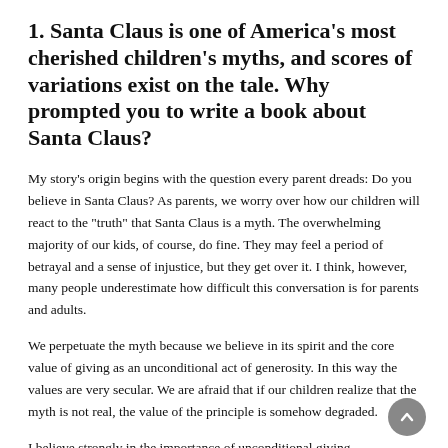1. Santa Claus is one of America's most cherished children's myths, and scores of variations exist on the tale. Why prompted you to write a book about Santa Claus?
My story's origin begins with the question every parent dreads: Do you believe in Santa Claus? As parents, we worry over how our children will react to the "truth" that Santa Claus is a myth. The overwhelming majority of our kids, of course, do fine. They may feel a period of betrayal and a sense of injustice, but they get over it. I think, however, many people underestimate how difficult this conversation is for parents and adults.
We perpetuate the myth because we believe in its spirit and the core value of giving as an unconditional act of generosity. In this way the values are very secular. We are afraid that if our children realize that the myth is not real, the value of the principle is somehow degraded.
I believe strongly in the importance of unconditional giving